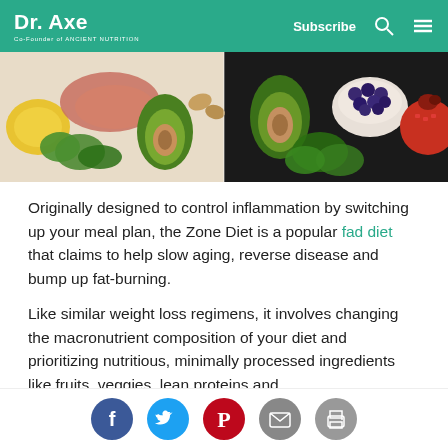Dr. Axe | Co-Founder of Ancient Nutrition | Subscribe
[Figure (photo): Two food photos side by side: left shows keto/paleo foods including avocado, salmon, nuts, leafy greens, olive oil on white background; right shows healthy foods including avocado, blueberries, pomegranate, leafy greens on dark background.]
Originally designed to control inflammation by switching up your meal plan, the Zone Diet is a popular fad diet that claims to help slow aging, reverse disease and bump up fat-burning.
Like similar weight loss regimens, it involves changing the macronutrient composition of your diet and prioritizing nutritious, minimally processed ingredients like fruits, veggies, lean proteins and